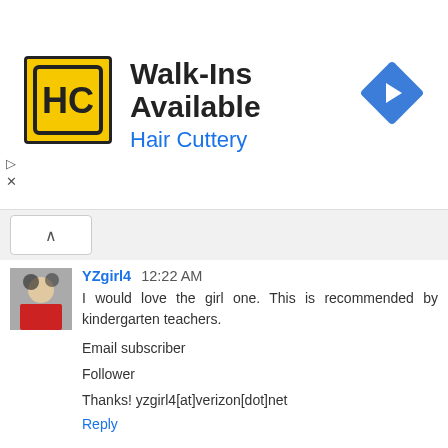[Figure (infographic): Hair Cuttery advertisement banner: yellow square logo with HC text, Walk-Ins Available headline, Hair Cuttery subtitle, blue diamond arrow icon on right]
YZgirl4  12:22 AM
I would love the girl one. This is recommended by kindergarten teachers.

Email subscriber

Follower

Thanks! yzgirl4[at]verizon[dot]net
Reply
wigget  2:52 PM
i learned that nnce s/he's got the shoe-tying down, Tie Buddies can assist your kid in tying a more secure knot.